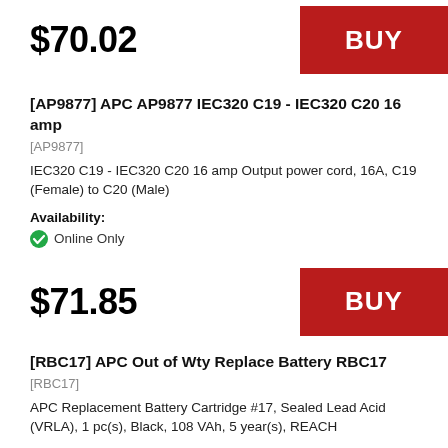$70.02
BUY
[AP9877] APC AP9877 IEC320 C19 - IEC320 C20 16 amp
[AP9877]
IEC320 C19 - IEC320 C20 16 amp Output power cord, 16A, C19 (Female) to C20 (Male)
Availability:
Online Only
$71.85
BUY
[RBC17] APC Out of Wty Replace Battery RBC17
[RBC17]
APC Replacement Battery Cartridge #17, Sealed Lead Acid (VRLA), 1 pc(s), Black, 108 VAh, 5 year(s), REACH
Availability:
Online Only